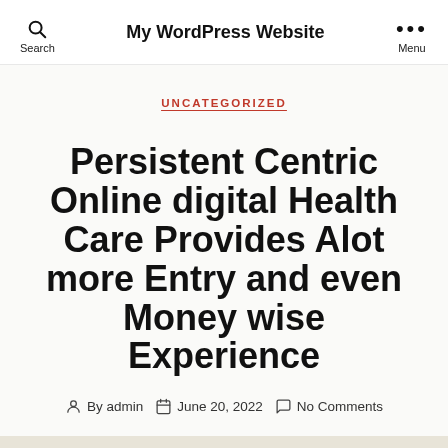My WordPress Website | Search | Menu
UNCATEGORIZED
Persistent Centric Online digital Health Care Provides Alot more Entry and even Money wise Experience
By admin  June 20, 2022  No Comments